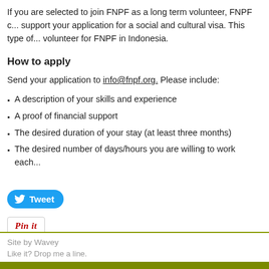If you are selected to join FNPF as a long term volunteer, FNPF c... support your application for a social and cultural visa. This type of... volunteer for FNPF in Indonesia.
How to apply
Send your application to info@fnpf.org. Please include:
A description of your skills and experience
A proof of financial support
The desired duration of your stay (at least three months)
The desired number of days/hours you are willing to work each...
[Figure (other): Tweet button (Twitter/X social share button) and Pin it button (Pinterest share button)]
Site by Wavey
Like it? Drop me a line.